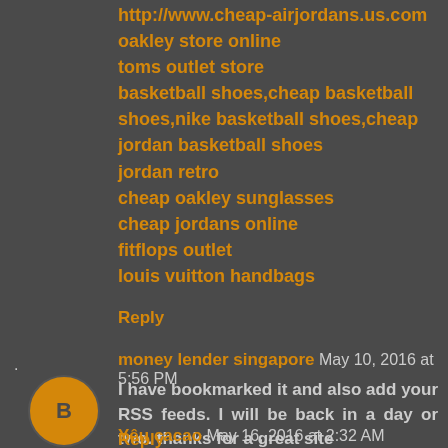http://www.cheap-airjordans.us.com
oakley store online
toms outlet store
basketball shoes,cheap basketball shoes,nike basketball shoes,cheap jordan basketball shoes
jordan retro
cheap oakley sunglasses
cheap jordans online
fitflops outlet
louis vuitton handbags
Reply
money lender singapore  May 10, 2016 at 5:56 PM
I have bookmarked it and also add your RSS feeds. I will be back in a day or two. thanks for a great site
Reply
Yêu cacao  May 16, 2016 at 2:32 AM